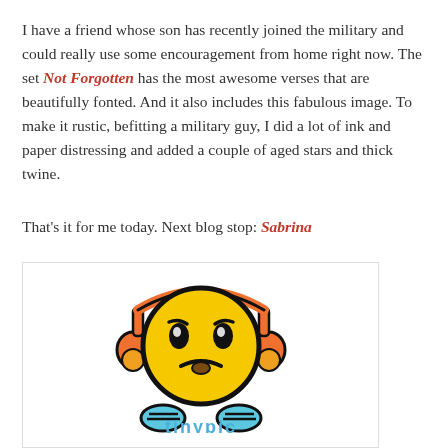I have a friend whose son has recently joined the military and could really use some encouragement from home right now. The set Not Forgotten has the most awesome verses that are beautifully fonted. And it also includes this fabulous image. To make it rustic, befitting a military guy, I did a lot of ink and paper distressing and added a couple of aged stars and thick twine.
That's it for me today. Next blog stop: Sabrina
[Figure (illustration): A cartoon sad emoji face character with orange ear pieces and blue shoes, with the 'tinypic' logo watermark at the bottom]